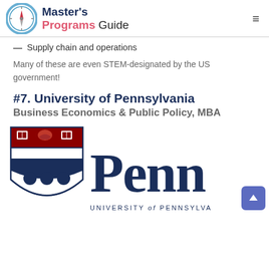Master's Programs Guide
Supply chain and operations
Many of these are even STEM-designated by the US government!
#7. University of Pennsylvania
Business Economics & Public Policy, MBA
[Figure (logo): University of Pennsylvania shield logo and Penn wordmark with 'UNIVERSITY of PENNSYLVANIA' text]